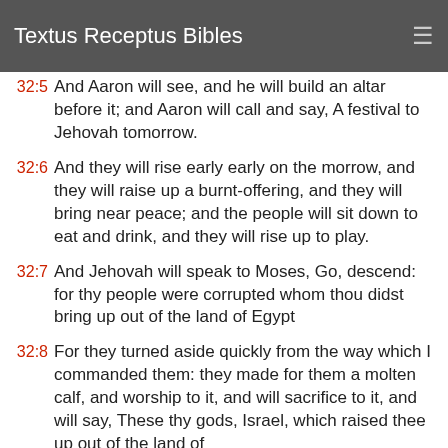Textus Receptus Bibles
32:5 And Aaron will see, and he will build an altar before it; and Aaron will call and say, A festival to Jehovah tomorrow.
32:6 And they will rise early early on the morrow, and they will raise up a burnt-offering, and they will bring near peace; and the people will sit down to eat and drink, and they will rise up to play.
32:7 And Jehovah will speak to Moses, Go, descend: for thy people were corrupted whom thou didst bring up out of the land of Egypt
32:8 For they turned aside quickly from the way which I commanded them: they made for them a molten calf, and worship to it, and will sacrifice to it, and will say, These thy gods, Israel, which raised thee up out of the land of